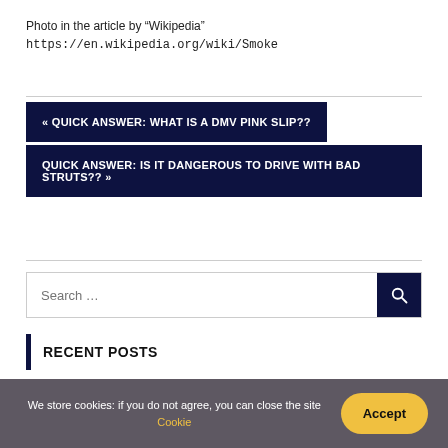Photo in the article by “Wikipedia”
https://en.wikipedia.org/wiki/Smoke
« QUICK ANSWER: WHAT IS A DMV PINK SLIP??
QUICK ANSWER: IS IT DANGEROUS TO DRIVE WITH BAD STRUTS?? »
Search …
RECENT POSTS
We store cookies: if you do not agree, you can close the site Cookie